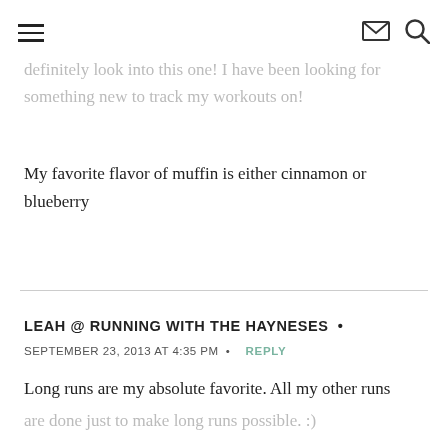[hamburger menu] [mail icon] [search icon]
definitely look into this one! I have been looking for something new to track my workouts on!
My favorite flavor of muffin is either cinnamon or blueberry
LEAH @ RUNNING WITH THE HAYNESES •
SEPTEMBER 23, 2013 AT 4:35 PM • REPLY
Long runs are my absolute favorite. All my other runs are done just to make long runs possible. :)